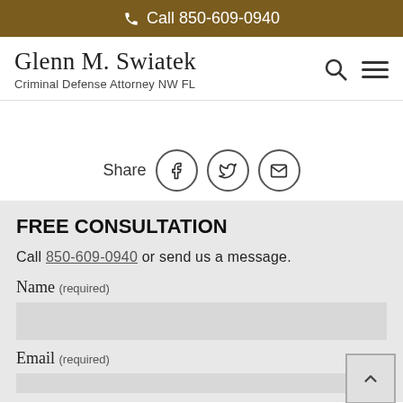Call 850-609-0940
Glenn M. Swiatek
Criminal Defense Attorney NW FL
[Figure (other): Share icons: Facebook, Twitter, Email inside circles, with Share label]
FREE CONSULTATION
Call 850-609-0940 or send us a message.
Name (required)
Email (required)